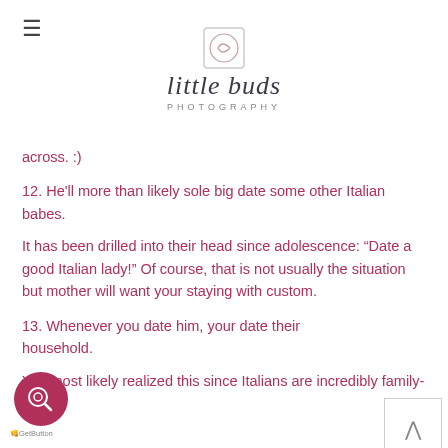little buds PHOTOGRAPHY
across. :)
12. He'll more than likely sole big date some other Italian babes.
It has been drilled into their head since adolescence: “Date a good Italian lady!” Of course, that is not usually the situation but mother will want your staying with custom.
13. Whenever you date him, your date their household.
You most likely realized this since Italians are incredibly family-